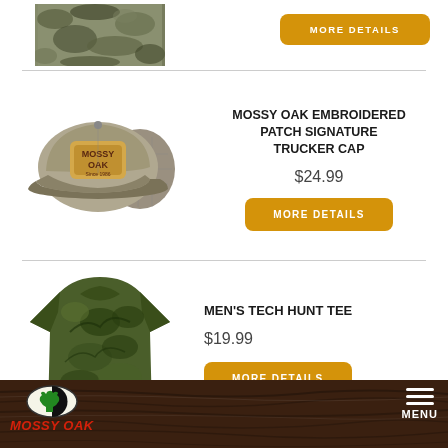[Figure (photo): Partial view of a camouflage clothing item cropped at top of page]
[Figure (other): Orange rounded button labeled MORE DETAILS]
[Figure (photo): Mossy Oak embroidered patch signature trucker cap in olive/tan with mesh back]
MOSSY OAK EMBROIDERED PATCH SIGNATURE TRUCKER CAP
$24.99
[Figure (other): Orange rounded button labeled MORE DETAILS]
[Figure (photo): Men's camo tech hunt tee shirt in Mossy Oak camouflage pattern]
MEN'S TECH HUNT TEE
$19.99
[Figure (other): Orange rounded button labeled MORE DETAILS]
MOSSY OAK | MENU